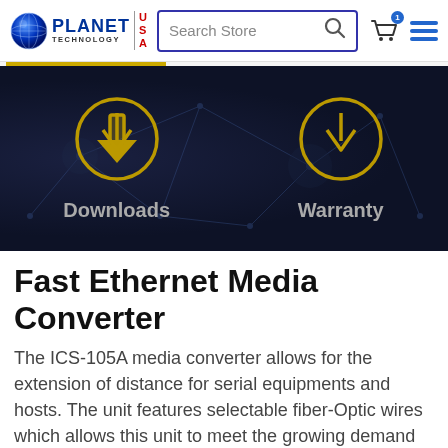[Figure (screenshot): Planet Technology USA website header with logo, search bar, cart icon with badge showing 1, and hamburger menu icon]
[Figure (screenshot): Dark banner section showing two download arrow icons in gold circles, labeled 'Downloads' and 'Warranty', with a dark navy network graph background]
Fast Ethernet Media Converter
The ICS-105A media converter allows for the extension of distance for serial equipments and hosts. The unit features selectable fiber-Optic wires which allows this unit to meet the growing demand for